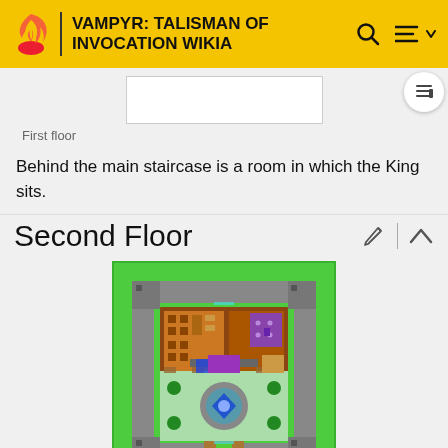VAMPYR: TALISMAN OF INVOCATION WIKIA
[Figure (screenshot): Blank white rectangle representing the First floor map image placeholder]
First floor
Behind the main staircase is a room in which the King sits.
Second Floor
[Figure (screenshot): Pixel-art map of the Second Floor showing green exterior, grey walkways, brown interior rooms, purple chamber, and blue diamond fountain in a courtyard]